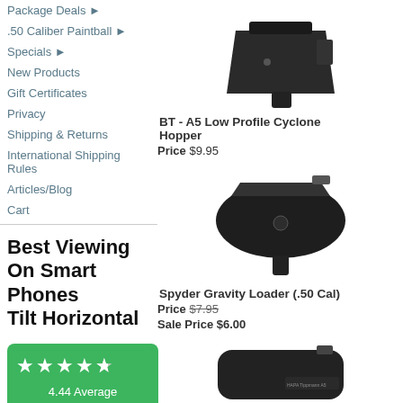Package Deals ▶
.50 Caliber Paintball ▶
Specials ▶
New Products
Gift Certificates
Privacy
Shipping & Returns
International Shipping Rules
Articles/Blog
Cart
Best Viewing On Smart Phones Tilt Horizontal
[Figure (infographic): Reviews.io widget showing 4.44 Average, 16 Reviews with star rating on green background]
[Figure (photo): BT - A5 Low Profile Cyclone Hopper product image, black paintball hopper]
BT - A5 Low Profile Cyclone Hopper
Price $9.95
[Figure (photo): Spyder Gravity Loader (.50 Cal) product image, black paintball loader]
Spyder Gravity Loader (.50 Cal)
Price $7.95  Sale Price $6.00
[Figure (photo): Third product image partially visible, black paintball hopper]